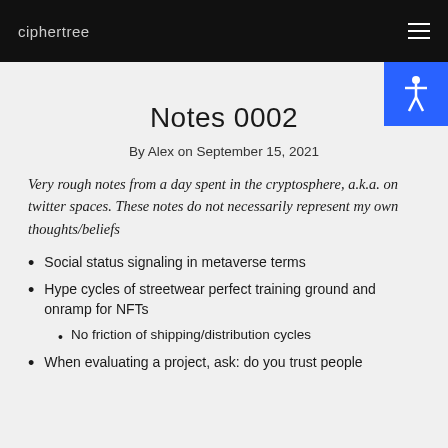ciphertree
Notes 0002
By Alex on September 15, 2021
Very rough notes from a day spent in the cryptosphere, a.k.a. on twitter spaces. These notes do not necessarily represent my own thoughts/beliefs
Social status signaling in metaverse terms
Hype cycles of streetwear perfect training ground and onramp for NFTs
No friction of shipping/distribution cycles
When evaluating a project, ask: do you trust people